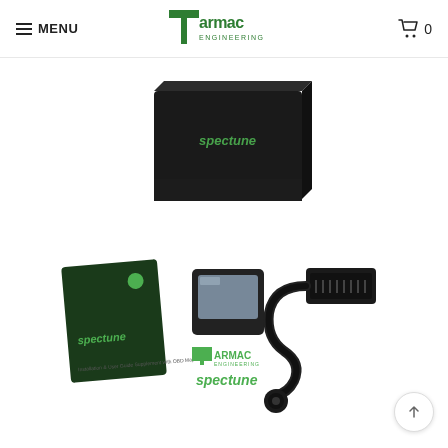MENU | Tarmac Engineering | Cart 0
[Figure (photo): Product photo of Spectune ECU tuning kit by Tarmac Engineering, showing black branded box, a small digital display unit with screen, an OBD cable/connector, a manual/booklet, Tarmac Engineering sticker, and Spectune sticker, arranged on white background.]